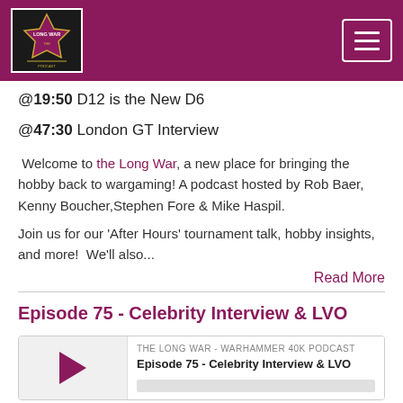[Figure (logo): Long War podcast logo with dark background and gold/red text, top left. Hamburger menu button top right on purple/maroon header bar.]
@19:50 D12 is the New D6
@47:30 London GT Interview
Welcome to the Long War, a new place for bringing the hobby back to wargaming! A podcast hosted by Rob Baer, Kenny Boucher,Stephen Fore & Mike Haspil.
Join us for our 'After Hours' tournament talk, hobby insights, and more!  We'll also...
Read More
Episode 75 - Celebrity Interview & LVO
[Figure (screenshot): Podcast player card showing play button triangle, label 'THE LONG WAR - WARHAMMER 40K PODCAST', and episode title 'Episode 75 - Celebrity Interview & LVO' with a grey progress bar.]